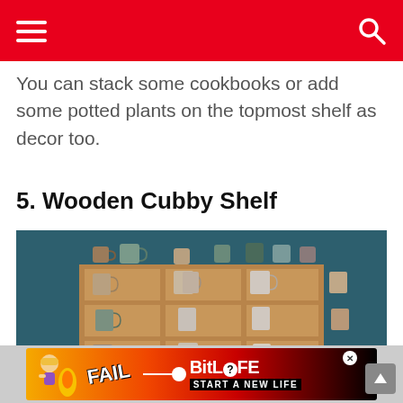You can stack some cookbooks or add some potted plants on the topmost shelf as decor too.
5. Wooden Cubby Shelf
[Figure (photo): A wooden cubby shelf unit mounted against a teal/dark blue wall, filled with numerous ceramic mugs of various colors and sizes. Extra mugs are displayed on top of the shelf unit.]
[Figure (infographic): Advertisement banner for BitLife mobile game showing 'FAIL' text with animated character and flames, BitLife logo with question mark icon, and 'START A NEW LIFE' tagline.]